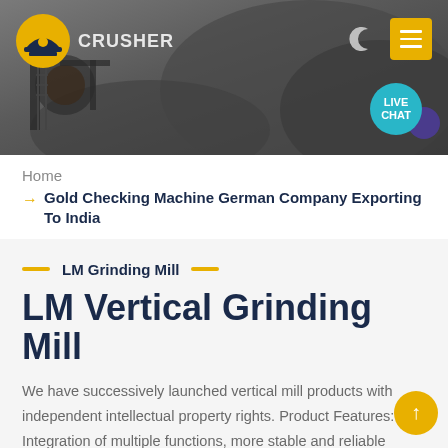[Figure (screenshot): Hero banner showing mining/crusher machinery site with dark rocky background. Logo 'CRUSHER' with icon at top left. Moon icon and yellow menu button at top right. Teal 'LIVE CHAT' bubble with purple speech tail at bottom right.]
Home
→ Gold Checking Machine German Company Exporting To India
LM Grinding Mill
LM Vertical Grinding Mill
We have successively launched vertical mill products with independent intellectual property rights. Product Features: Integration of multiple functions, more stable and reliable